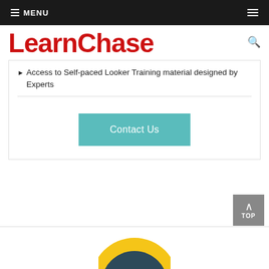≡ MENU
LearnChase
Access to Self-paced Looker Training material designed by Experts
Contact Us
[Figure (illustration): Partial view of a circular logo/illustration with yellow and dark teal/navy colors at the bottom of the page]